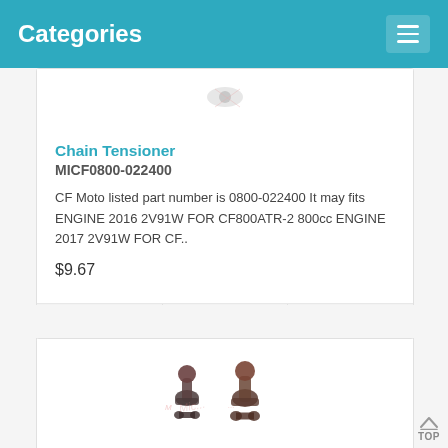Categories
Chain Tensioner
MICF0800-022400
CF Moto listed part number is 0800-022400 It may fits ENGINE 2016 2V91W FOR CF800ATR-2 800cc ENGINE 2017 2V91W FOR CF..
$9.67
Exhaust Intake Rocker Arm 59mm
MICF0800-022400-1000